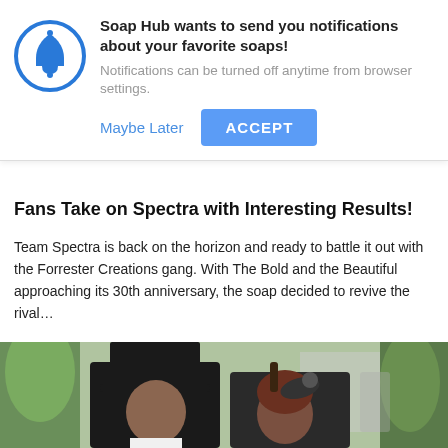[Figure (infographic): Browser push notification dialog: bell icon in blue circle, title 'Soap Hub wants to send you notifications about your favorite soaps!', subtitle 'Notifications can be turned off anytime from browser settings.', 'Maybe Later' link and 'ACCEPT' blue button.]
Fans Take on Spectra with Interesting Results!
Team Spectra is back on the horizon and ready to battle it out with the Forrester Creations gang. With The Bold and the Beautiful approaching its 30th anniversary, the soap decided to revive the rival…
[Figure (photo): A young man wearing a black top hat and formal attire standing next to a woman wearing a decorative hat/fascinator, both facing the camera, with green plants and urban background behind them.]